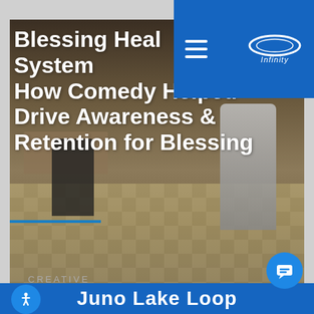Infinity (logo) — navigation header with hamburger menu
[Figure (photo): Office scene with a person seated in a chair and a robot/silver-costumed figure standing nearby. Bold white text overlaid: 'Blessing Health System — How Comedy Helped Drive Awareness & Retention for Blessing'. Blue underline accent. CREATIVE label at bottom-left.]
Blessing Health System How Comedy Helped Drive Awareness & Retention for Blessing
CREATIVE
Juno Lake Loop